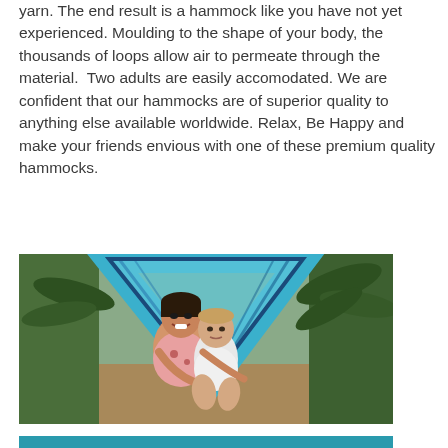yarn. The end result is a hammock like you have not yet experienced. Moulding to the shape of your body, the thousands of loops allow air to permeate through the material.  Two adults are easily accomodated. We are confident that our hammocks are of superior quality to anything else available worldwide. Relax, Be Happy and make your friends envious with one of these premium quality hammocks.
[Figure (photo): Two children sitting in a blue hammock outdoors. An older Asian girl is smiling broadly, and a younger toddler in white is sitting in front of her. Green palm trees are visible in the background.]